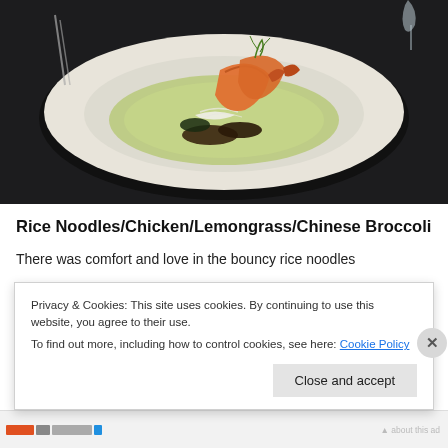[Figure (photo): A white plate with shrimp/prawn dish served on a green sauce with rice noodles and vegetables, restaurant-style presentation on a dark background]
Rice Noodles/Chicken/Lemongrass/Chinese Broccoli
There was comfort and love in the bouncy rice noodles
Privacy & Cookies: This site uses cookies. By continuing to use this website, you agree to their use.
To find out more, including how to control cookies, see here: Cookie Policy
Close and accept